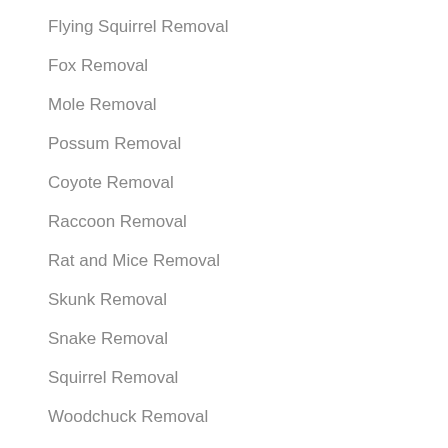Flying Squirrel Removal
Fox Removal
Mole Removal
Possum Removal
Coyote Removal
Raccoon Removal
Rat and Mice Removal
Skunk Removal
Snake Removal
Squirrel Removal
Woodchuck Removal
Wildlife Prevention